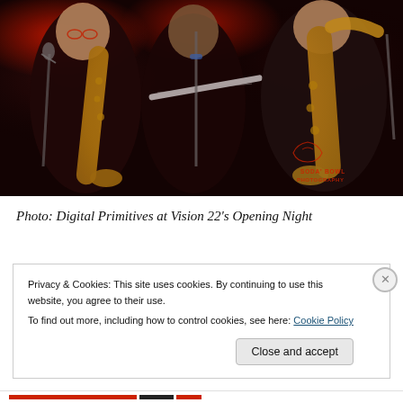[Figure (photo): Concert photo showing three musicians on stage in dark lighting with red accents. Left musician plays saxophone, center musician plays flute, right musician plays saxophone. Photo watermark reads 'SODA BOWL PHOTOGRAPHY' with a logo in bottom right corner.]
Photo: Digital Primitives at Vision 22's Opening Night
Privacy & Cookies: This site uses cookies. By continuing to use this website, you agree to their use.
To find out more, including how to control cookies, see here: Cookie Policy
Close and accept